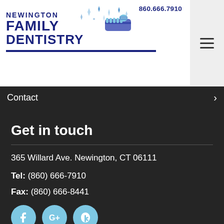[Figure (logo): Newington Family Dentistry logo with toothbrush graphic and phone number 860.666.7910]
Contact
Get in touch
365 Willard Ave. Newington, CT 06111
Tel: (860) 666-7910
Fax: (860) 666-8441
[Figure (illustration): Social media icons: Facebook, Google+, Yelp]